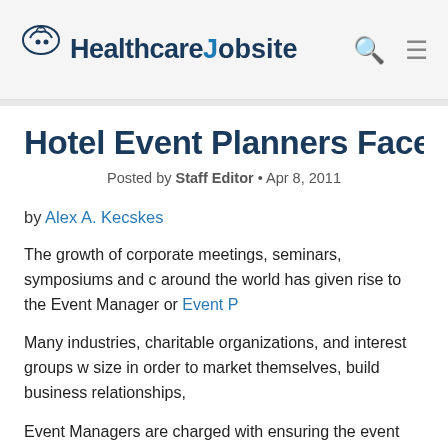HealthcareJobsite
Hotel Event Planners Face Many C
Posted by Staff Editor • Apr 8, 2011
by Alex A. Kecskes
The growth of corporate meetings, seminars, symposiums and c... around the world has given rise to the Event Manager or Event P...
Many industries, charitable organizations, and interest groups w... size in order to market themselves, build business relationships,...
Event Managers are charged with ensuring the event meets clie... work with a company or organization's liaison to plan and execu... details and making sure participants have an enjoyable experien...